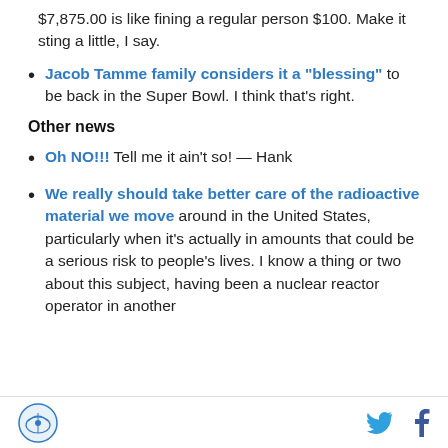$7,875.00 is like fining a regular person $100. Make it sting a little, I say.
Jacob Tamme family considers it a "blessing" to be back in the Super Bowl. I think that's right.
Other news
Oh NO!!! Tell me it ain't so! — Hank
We really should take better care of the radioactive material we move around in the United States, particularly when it's actually in amounts that could be a serious risk to people's lives. I know a thing or two about this subject, having been a nuclear reactor operator in another
Logo | Twitter | Facebook